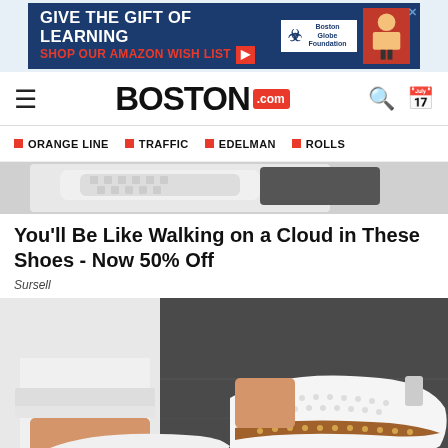[Figure (photo): Advertisement banner: 'Give the Gift of Learning - Shop Our Amazon Wish List' with Boston Globe Foundation logo and illustration of a person]
BOSTON.com
ORANGE LINE
TRAFFIC
EDELMAN
ROLLS
[Figure (photo): Close-up partial photo of white mesh sneakers from above]
You'll Be Like Walking on a Cloud in These Shoes - Now 50% Off
Sursell
[Figure (photo): Photo of person wearing white perforated sneakers with brown stripe detail, with white jeans, on dark pavement]